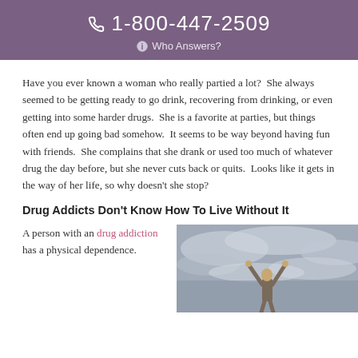1-800-447-2509 Who Answers?
Have you ever known a woman who really partied a lot?  She always seemed to be getting ready to go drink, recovering from drinking, or even getting into some harder drugs.  She is a favorite at parties, but things often end up going bad somehow.  It seems to be way beyond having fun with friends.  She complains that she drank or used too much of whatever drug the day before, but she never cuts back or quits.  Looks like it gets in the way of her life, so why doesn't she stop?
Drug Addicts Don't Know How To Live Without It
A person with an drug addiction has a physical dependence.
[Figure (photo): Person with arms raised against a cloudy sky background]